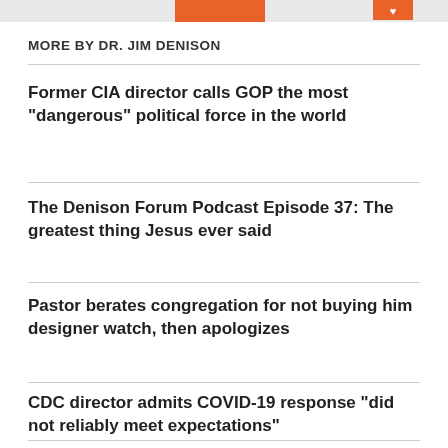MORE BY DR. JIM DENISON
Former CIA director calls GOP the most “dangerous” political force in the world
The Denison Forum Podcast Episode 37: The greatest thing Jesus ever said
Pastor berates congregation for not buying him designer watch, then apologizes
CDC director admits COVID-19 response “did not reliably meet expectations”